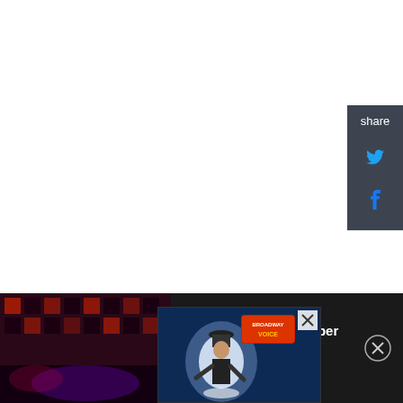[Figure (screenshot): Social share panel on right side with Twitter and Facebook icons on dark gray background]
[Figure (screenshot): Bottom promotional bar for 'First Look at Tiki Barber in KINKY BOOTS' with stage photo on dark background]
[Figure (screenshot): Overlaid advertisement with performer under spotlight on blue background with Broadway Voice logo]